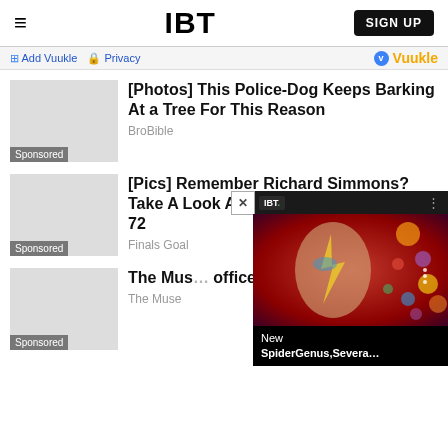IBT — SIGN UP
Add Vuukle  Privacy   Vuukle
[Photos] This Police-Dog Keeps Barking At a Tree For This Reason
BroBible
Sponsored
[Pics] Remember Richard Simmons? Take A Look At What He Looks Like At 72
Finals Goal
Sponsored
The Mus... office of...
The Muse
Sponsored
[Figure (screenshot): IBT video popup showing colorful artwork of a face with lightning bolt makeup, with text 'New SpiderGenus,Severa...' and a close button]